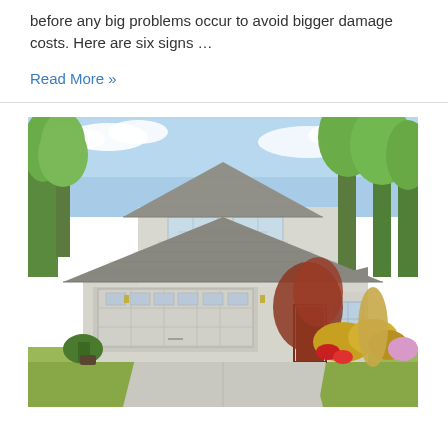before any big problems occur to avoid bigger damage costs. Here are six signs ...
Read More »
[Figure (photo): Exterior photo of a two-story residential home with a two-car garage, gray roof, white siding, red front door, lush green trees in the background, and colorful landscaping in the front yard on a sunny day.]